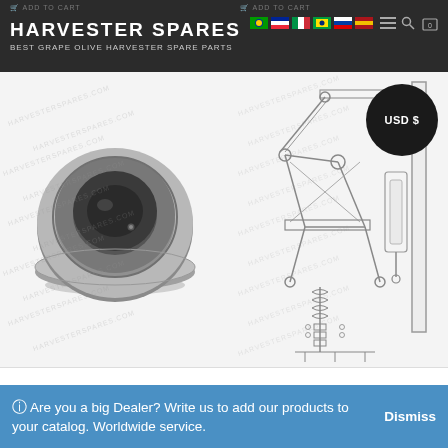HARVESTER SPARES — BEST GRAPE OLIVE HARVESTER SPARE PARTS
[Figure (photo): Close-up photo of a metal bearing/hub unit (spherical insert bearing) shown on a watermarked background with harvesterspares.com text]
[Figure (engineering-diagram): Technical line drawing/exploded diagram of a harvester mechanical assembly showing linkage arms, mounting brackets, and fastener components. USD $ badge overlaid in top-right corner.]
This product is a genuine harvester spare part. Worldwide Mo...
ⓘ  Are you a big Dealer? Write us to add our products to your catalog. Worldwide service.
Dismiss